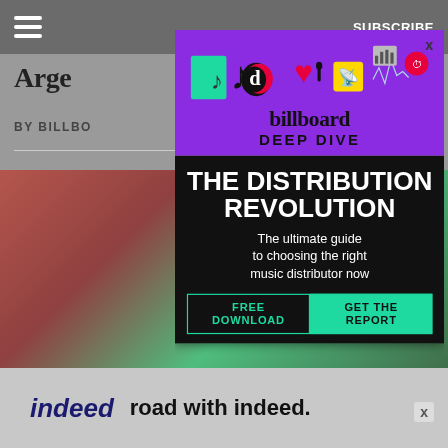SUBSCRIBE
Arge...
BY BILLBO... 12 hrs ago
[Figure (screenshot): Billboard Deep Dive advertisement popup. Purple top section with TikTok and social media icons illustration. Text reads: billboard DEEP DIVE. Black bottom section with large white bold text: THE DISTRIBUTION REVOLUTION. Subtitle: The ultimate guide to choosing the right music distributor now. CTA buttons: FREE DOWNLOAD | GET THE REPORT in teal/green.]
indeed  road with indeed.